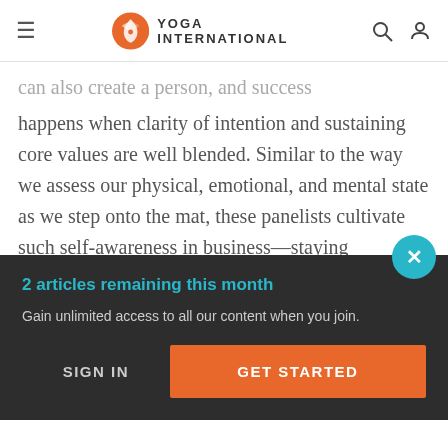Yoga International
can also create a person, and success happens when clarity of intention and sustaining core values are well blended. Similar to the way we assess our physical, emotional, and mental state as we step onto the mat, these panelists cultivate such self-awareness in business—staying committed to their own daily practice, and listening to both the needs of the community and their own values.
2 articles remaining this month
Gain unlimited access to all our content when you join.
SIGN IN
GET STARTED
compassionate, and thoughtful dialogue and